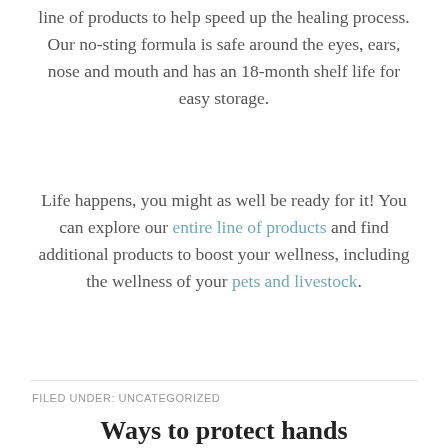line of products to help speed up the healing process. Our no-sting formula is safe around the eyes, ears, nose and mouth and has an 18-month shelf life for easy storage.
Life happens, you might as well be ready for it! You can explore our entire line of products and find additional products to boost your wellness, including the wellness of your pets and livestock.
FILED UNDER: UNCATEGORIZED
Ways to protect hands